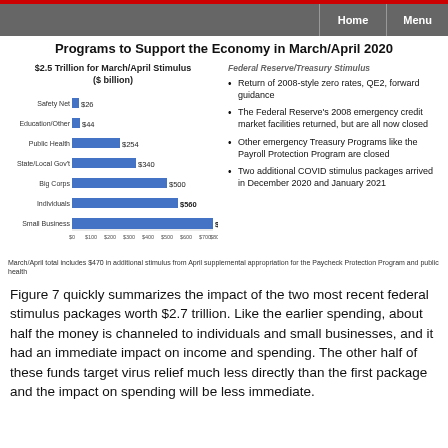Home  Menu
Programs to Support the Economy in March/April 2020
[Figure (bar-chart): $2.5 Trillion for March/April Stimulus ($ billion)]
Return of 2008-style zero rates, QE2, forward guidance
The Federal Reserve's 2008 emergency credit market facilities returned, but are all now closed
Other emergency Treasury Programs like the Payroll Protection Program are closed
Two additional COVID stimulus packages arrived in December 2020 and January 2021
March/April total includes $470 in additional stimulus from April supplemental appropriation for the Paycheck Protection Program and public health
Figure 7 quickly summarizes the impact of the two most recent federal stimulus packages worth $2.7 trillion. Like the earlier spending, about half the money is channeled to individuals and small businesses, and it had an immediate impact on income and spending. The other half of these funds target virus relief much less directly than the first package and the impact on spending will be less immediate.